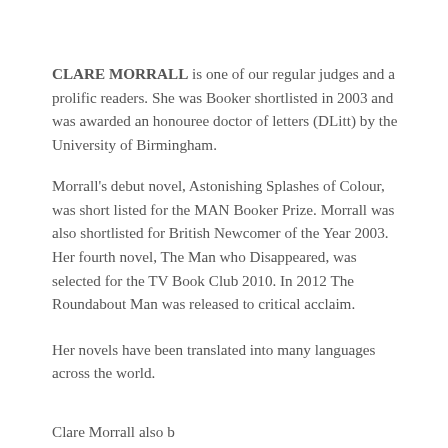CLARE MORRALL is one of our regular judges and a prolific readers. She was Booker shortlisted in 2003 and was awarded an honouree doctor of letters (DLitt) by the University of Birmingham.
Morrall's debut novel, Astonishing Splashes of Colour, was short listed for the MAN Booker Prize. Morrall was also shortlisted for British Newcomer of the Year 2003. Her fourth novel, The Man who Disappeared, was selected for the TV Book Club 2010. In 2012 The Roundabout Man was released to critical acclaim.
Her novels have been translated into many languages across the world.
Clare Morrall also b